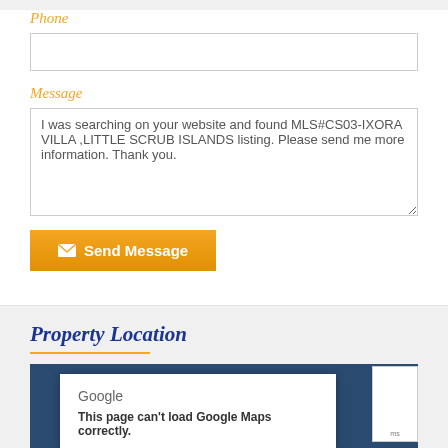Phone
Message
I was searching on your website and found MLS#CS03-IXORA VILLA ,LITTLE SCRUB ISLANDS listing. Please send me more information. Thank you.
Send Message
Property Location
Google
This page can't load Google Maps correctly.